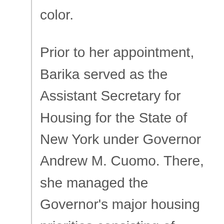color.
Prior to her appointment, Barika served as the Assistant Secretary for Housing for the State of New York under Governor Andrew M. Cuomo. There, she managed the Governor's major housing priorities consisting of various agencies with a combined workforce of over 1,000 employees and an annual budget of more than $2.5 billion dollars. She supported the Governor's